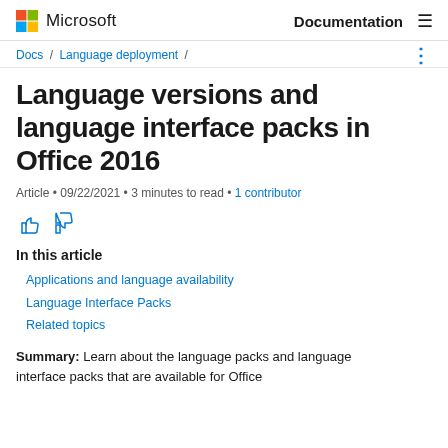Microsoft   Documentation
Docs / Language deployment /
Language versions and language interface packs in Office 2016
Article • 09/22/2021 • 3 minutes to read • 1 contributor
In this article
Applications and language availability
Language Interface Packs
Related topics
Summary: Learn about the language packs and language interface packs that are available for Office